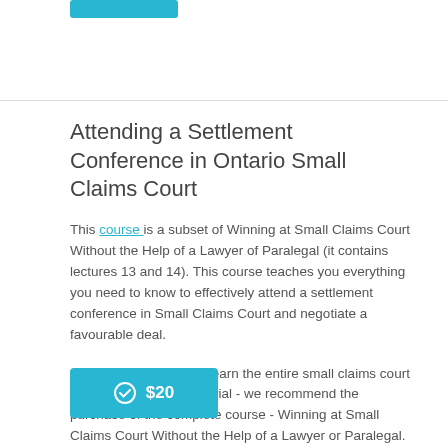Attending a Settlement Conference in Ontario Small Claims Court
This course is a subset of Winning at Small Claims Court Without the Help of a Lawyer of Paralegal (it contains lectures 13 and 14). This course teaches you everything you need to know to effectively attend a settlement conference in Small Claims Court and negotiate a favourable deal.
For those, who wish to learn the entire small claims court process - from claim to trial - we recommend the purchase of the complete course - Winning at Small Claims Court Without the Help of a Lawyer or Paralegal.